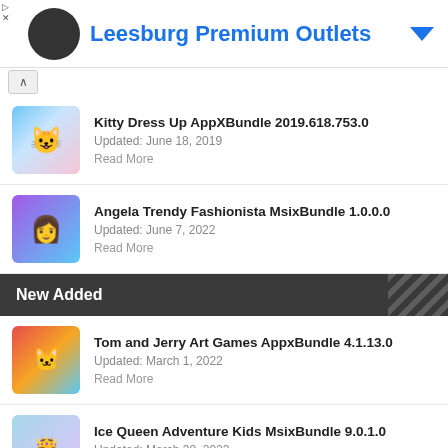[Figure (screenshot): Advertisement banner for Leesburg Premium Outlets with blue text and logo]
Kitty Dress Up AppXBundle 2019.618.753.0
Updated: June 18, 2019
Read More
Angela Trendy Fashionista MsixBundle 1.0.0.0
Updated: June 7, 2022
Read More
New Added
Tom and Jerry Art Games AppxBundle 4.1.13.0
Updated: March 1, 2022
Read More
Ice Queen Adventure Kids MsixBundle 9.0.1.0
Updated: March 30, 2022
Read More
Sensory Fireworks Appx 1.5.0.0
Updated: June 18, 2022